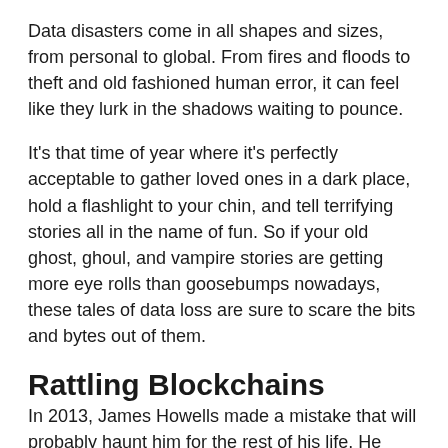Data disasters come in all shapes and sizes, from personal to global. From fires and floods to theft and old fashioned human error, it can feel like they lurk in the shadows waiting to pounce.
It's that time of year where it's perfectly acceptable to gather loved ones in a dark place, hold a flashlight to your chin, and tell terrifying stories all in the name of fun. So if your old ghost, ghoul, and vampire stories are getting more eye rolls than goosebumps nowadays, these tales of data loss are sure to scare the bits and bytes out of them.
Rattling Blockchains
In 2013, James Howells made a mistake that will probably haunt him for the rest of his life. He threw out an old, unused hard drive that'd been sitting in a drawer for years, forgetting the drive held 7,500 bitcoins. He's tried several times to get permission from his local government to excavate the landfill where the drive most likely ended up, offering a reward of 25% of the total value if they all...